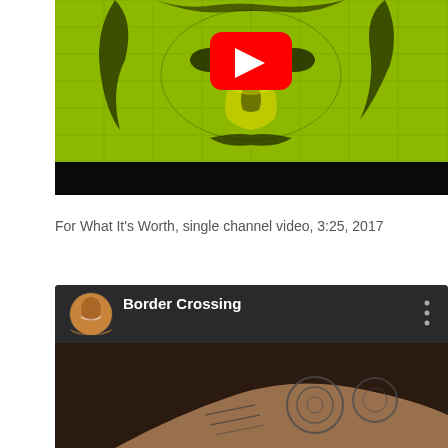[Figure (screenshot): YouTube video thumbnail showing a green-tinted mosaic/collage artwork of a face with dark brushstroke-like patterns, with a red YouTube play button in the center]
For What It's Worth, single channel video, 3:25, 2017
[Figure (screenshot): YouTube video thumbnail showing 'Border Crossing' channel, with a profile picture of a woman smiling, channel name 'Border Crossing' in white text, three-dot menu icon, and a dark video preview showing a person's arm with circular tattoo-like drawings]